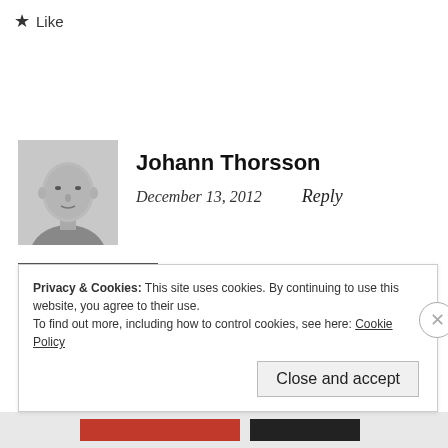★ Like
[Figure (photo): Black and white portrait photo of a bald man, head and shoulders view]
Johann Thorsson
December 13, 2012    Reply
I like the fact that it has no
Privacy & Cookies: This site uses cookies. By continuing to use this website, you agree to their use.
To find out more, including how to control cookies, see here: Cookie Policy
Close and accept